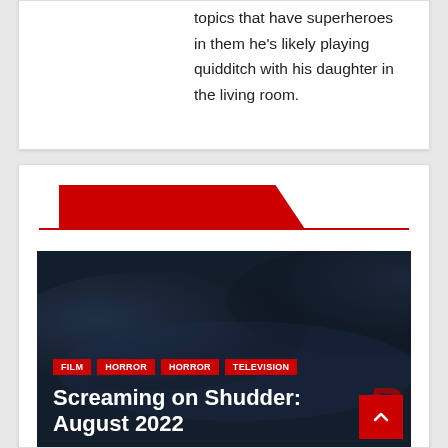topics that have superheroes in them he's likely playing quidditch with his daughter in the living room.
RELATED POST
[Figure (photo): Dark moody cloudy background image with Shudder logo branding, article tags FILM, HORROR, HORROR, TELEVISION, title 'Screaming on Shudder: August 2022', date JUL 21, 2022, author PAT EMMEL]